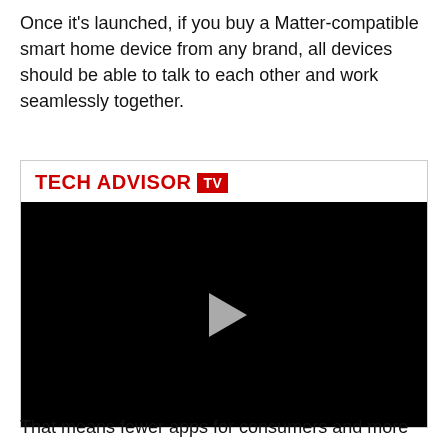Once it's launched, if you buy a Matter-compatible smart home device from any brand, all devices should be able to talk to each other and work seamlessly together.
[Figure (screenshot): Tech Advisor TV video player with black screen and play button]
That means fewer apps for consumers and more